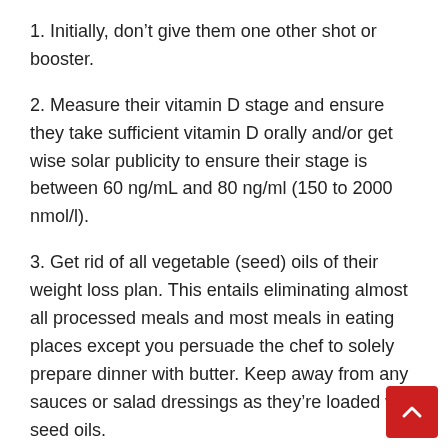1. Initially, don’t give them one other shot or booster.
2. Measure their vitamin D stage and ensure they take sufficient vitamin D orally and/or get wise solar publicity to ensure their stage is between 60 ng/mL and 80 ng/ml (150 to 2000 nmol/l).
3. Get rid of all vegetable (seed) oils of their weight loss plan. This entails eliminating almost all processed meals and most meals in eating places except you persuade the chef to solely prepare dinner with butter. Keep away from any sauces or salad dressings as they’re loaded with seed oils.